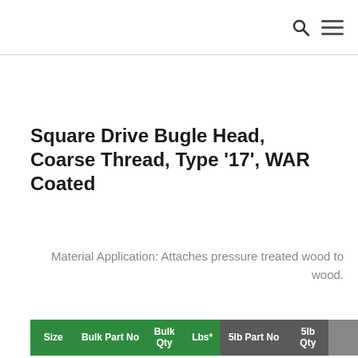Square Drive Bugle Head, Coarse Thread, Type ‘17’, WAR Coated
Material Application: Attaches pressure treated wood to wood.
| Size | Bulk Part No | Bulk Qty | Lbs* | 5lb Part No | 5lb Qty |
| --- | --- | --- | --- | --- | --- |